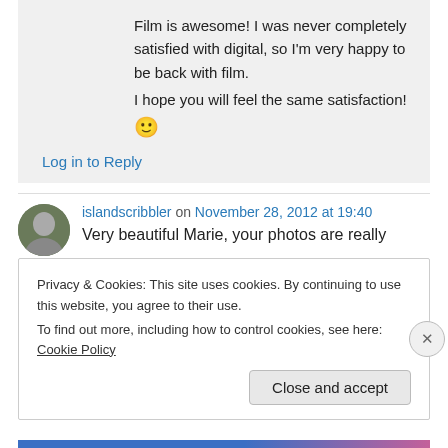Film is awesome! I was never completely satisfied with digital, so I'm very happy to be back with film.
I hope you will feel the same satisfaction! 🙂
Log in to Reply
islandscribbler on November 28, 2012 at 19:40
Very beautiful Marie, your photos are really
Privacy & Cookies: This site uses cookies. By continuing to use this website, you agree to their use.
To find out more, including how to control cookies, see here: Cookie Policy
Close and accept